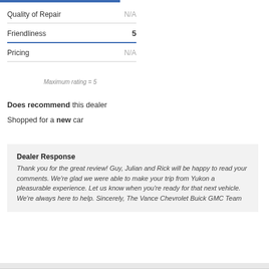| Category | Rating |
| --- | --- |
| Quality of Repair | N/A |
| Friendliness | 5 |
| Pricing | N/A |
Maximum rating = 5
Does recommend this dealer
Shopped for a new car
Dealer Response
Thank you for the great review! Guy, Julian and Rick will be happy to read your comments. We're glad we were able to make your trip from Yukon a pleasurable experience. Let us know when you're ready for that next vehicle. We're always here to help. Sincerely, The Vance Chevrolet Buick GMC Team